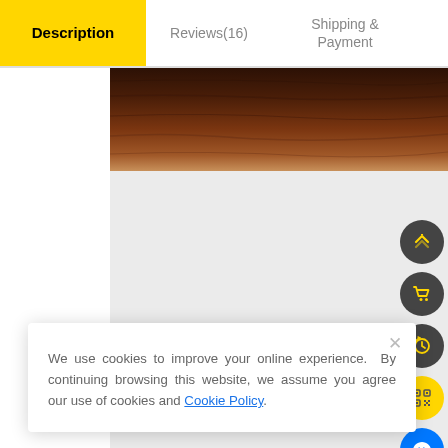Description | Reviews(16) | Shipping & Payment | Wholesale Inquiry
[Figure (photo): Dark wood grain texture surface, brown tones]
[Figure (screenshot): Cookie consent popup with close button, text about cookies and Cookie Policy link]
We use cookies to improve your online experience. By continuing browsing this website, we assume you agree our use of cookies and Cookie Policy.